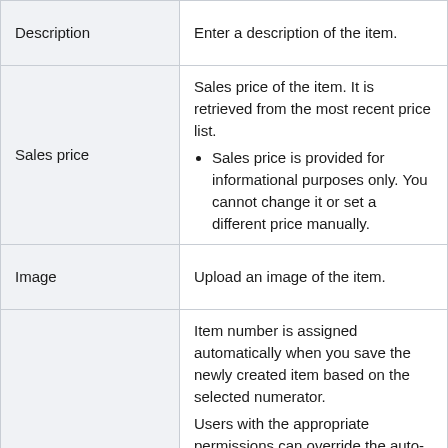| Field | Description |
| --- | --- |
| Description | Enter a description of the item. |
| Sales price | Sales price of the item. It is retrieved from the most recent price list.
• Sales price is provided for informational purposes only. You cannot change it or set a different price manually. |
| Image | Upload an image of the item. |
| Number | Item number is assigned automatically when you save the newly created item based on the selected numerator.

Users with the appropriate permissions can override the auto-generated number and enter it manually.

After overriding the item serial... |